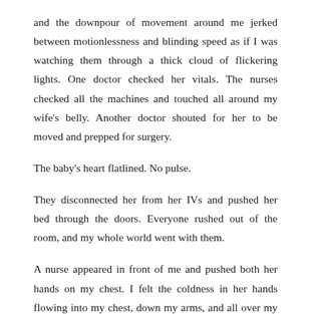and the downpour of movement around me jerked between motionlessness and blinding speed as if I was watching them through a thick cloud of flickering lights. One doctor checked her vitals. The nurses checked all the machines and touched all around my wife's belly. Another doctor shouted for her to be moved and prepped for surgery.
The baby's heart flatlined. No pulse.
They disconnected her from her IVs and pushed her bed through the doors. Everyone rushed out of the room, and my whole world went with them.
A nurse appeared in front of me and pushed both her hands on my chest. I felt the coldness in her hands flowing into my chest, down my arms, and all over my body. She told me to stay in the room.
“Why?” I said.